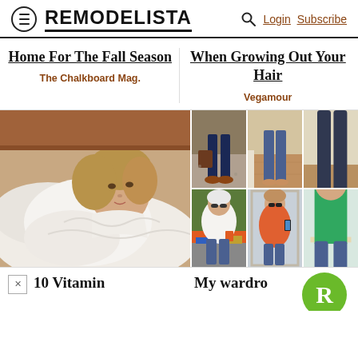REMODELISTA — Login Subscribe
Home For The Fall Season
The Chalkboard Mag.
When Growing Out Your Hair
Vegamour
[Figure (photo): Woman with blonde hair lying on white bed linens in a white shirt, looking at camera]
[Figure (photo): Grid of 6 fashion/outfit photos showing women in various outfits including jeans and colorful tops]
10 Vitamin
My wardro